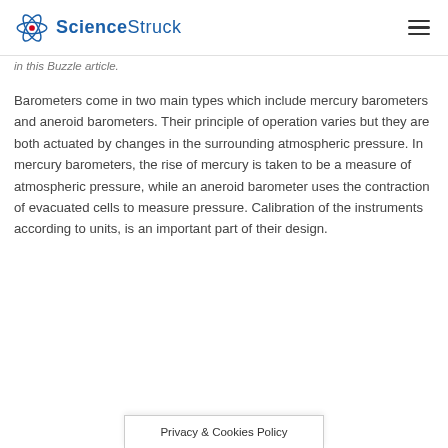ScienceStruck
in this Buzzle article.
Barometers come in two main types which include mercury barometers and aneroid barometers. Their principle of operation varies but they are both actuated by changes in the surrounding atmospheric pressure. In mercury barometers, the rise of mercury is taken to be a measure of atmospheric pressure, while an aneroid barometer uses the contraction of evacuated cells to measure pressure. Calibration of the instruments according to units, is an important part of their design.
Privacy & Cookies Policy